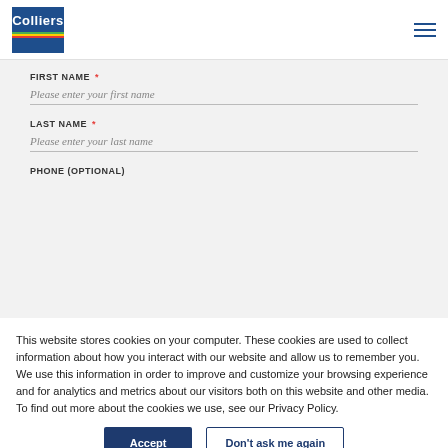[Figure (logo): Colliers logo — blue square with white 'Colliers' text and colored stripes (blue, green, yellow, red) at bottom]
FIRST NAME *
Please enter your first name
LAST NAME *
Please enter your last name
PHONE (OPTIONAL)
This website stores cookies on your computer. These cookies are used to collect information about how you interact with our website and allow us to remember you. We use this information in order to improve and customize your browsing experience and for analytics and metrics about our visitors both on this website and other media. To find out more about the cookies we use, see our Privacy Policy.
Accept
Don't ask me again